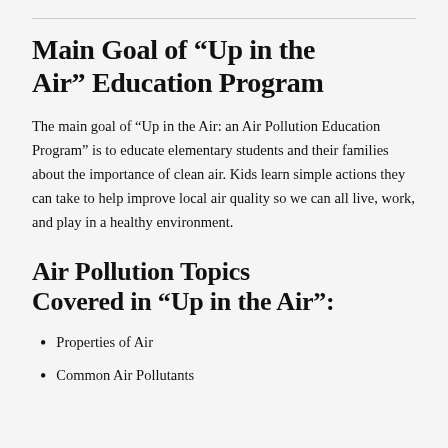Main Goal of “Up in the Air” Education Program
The main goal of “Up in the Air: an Air Pollution Education Program” is to educate elementary students and their families about the importance of clean air. Kids learn simple actions they can take to help improve local air quality so we can all live, work, and play in a healthy environment.
Air Pollution Topics Covered in “Up in the Air”:
Properties of Air
Common Air Pollutants